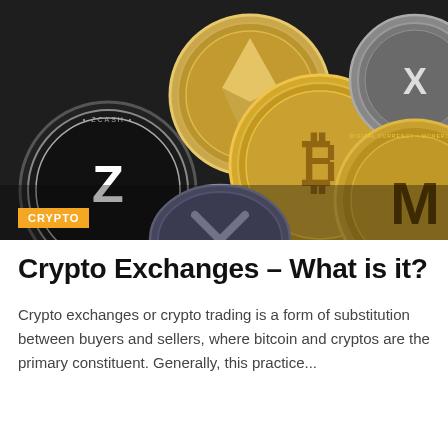[Figure (photo): Close-up photo of multiple cryptocurrency coins including Ethereum (gold), Zcash (black/silver), Bitcoin (gold), Ripple (silver), Monero (gold), and Dash (silver/blue) coins arranged on a dark surface. An orange 'CRYPTO' badge is overlaid at the bottom left of the image.]
Crypto Exchanges – What is it?
Crypto exchanges or crypto trading is a form of substitution between buyers and sellers, where bitcoin and cryptos are the primary constituent. Generally, this practice...